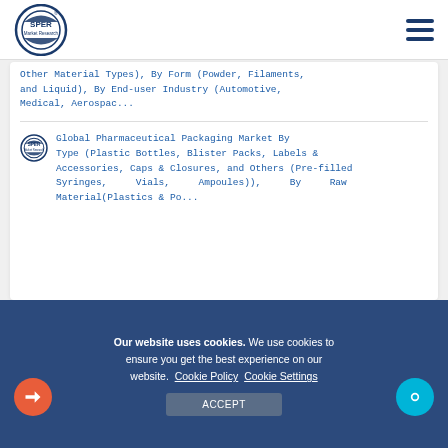SPER Market Research
Other Material Types), By Form (Powder, Filaments, and Liquid), By End-user Industry (Automotive, Medical, Aerospac...
Global Pharmaceutical Packaging Market By Type (Plastic Bottles, Blister Packs, Labels & Accessories, Caps & Closures, and Others (Pre-filled Syringes, Vials, Ampoules)), By Raw Material(Plastics & Po...
Our website uses cookies. We use cookies to ensure you get the best experience on our website.  Cookie Policy  Cookie Settings
ACCEPT